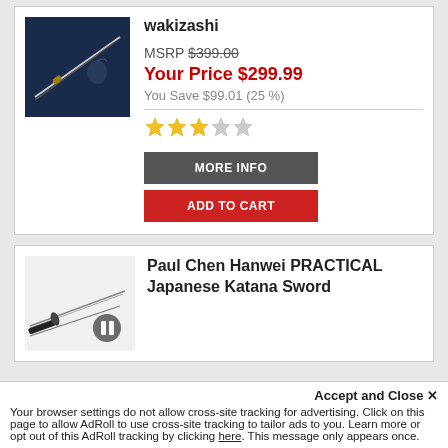[Figure (photo): Wakizashi sword product image on dark background]
wakizashi
MSRP $399.00
Your Price $299.99
You Save $99.01 (25 %)
[Figure (illustration): 3-star rating out of 5 stars]
MORE INFO
ADD TO CART
[Figure (photo): Paul Chen Hanwei Practical Japanese Katana Sword product image with pause icon]
Paul Chen Hanwei PRACTICAL Japanese Katana Sword
Accept and Close ✕
Your browser settings do not allow cross-site tracking for advertising. Click on this page to allow AdRoll to use cross-site tracking to tailor ads to you. Learn more or opt out of this AdRoll tracking by clicking here. This message only appears once.